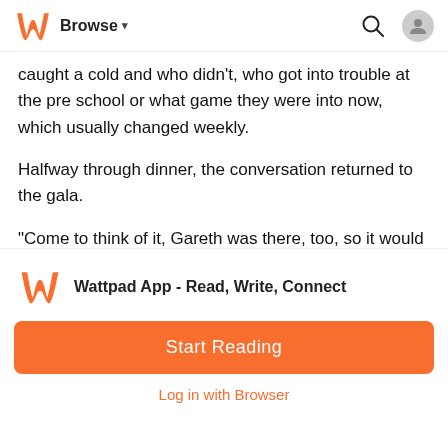Browse
caught a cold and who didn't, who got into trouble at the pre school or what game they were into now, which usually changed weekly.
Halfway through dinner, the conversation returned to the gala.
"Come to think of it, Gareth was there, too, so it would probably have been awkward for you both to be in the same room after that whole fiasco with that photo of you two kissing," Clint said, glancing at Paige before turning back to Riley.
"Now I'm really happy that I didn't go," Riley said, forcing a smile. "That would have been interesting, wouldn't it? Gareth and I in
Wattpad App - Read, Write, Connect
Start Reading
Log in with Browser